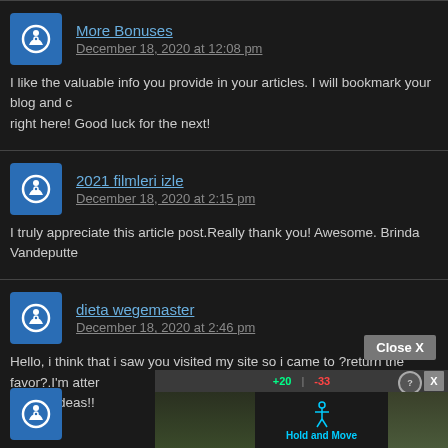More Bonuses
December 18, 2020 at 12:08 pm
I like the valuable info you provide in your articles. I will bookmark your blog and check again here right here! Good luck for the next!
2021 filmleri izle
December 18, 2020 at 2:15 pm
I truly appreciate this article post.Really thank you! Awesome. Brinda Vandeputte
dieta wegemaster
December 18, 2020 at 2:46 pm
Hello, i think that i saw you visited my site so i came to ?return the favor?.I'm attempting to find things to enhance your web site!I suppose its ok to use some of your ideas!!
[Figure (screenshot): Advertisement overlay showing 'Hold and Move' game/app with trees background, score indicators (+20, -33), and Close X button]